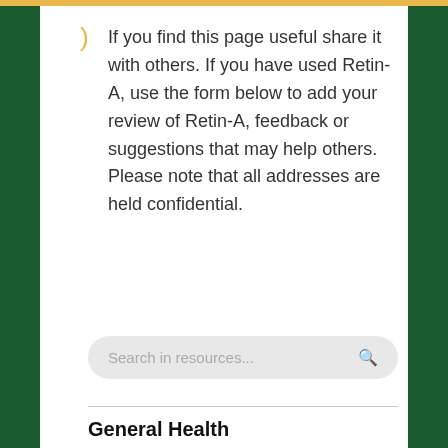If you find this page useful share it with others. If you have used Retin-A, use the form below to add your review of Retin-A, feedback or suggestions that may help others. Please note that all addresses are held confidential.
[Figure (other): Search bar with placeholder text 'Search in resources...' and a search icon on the right]
General Health